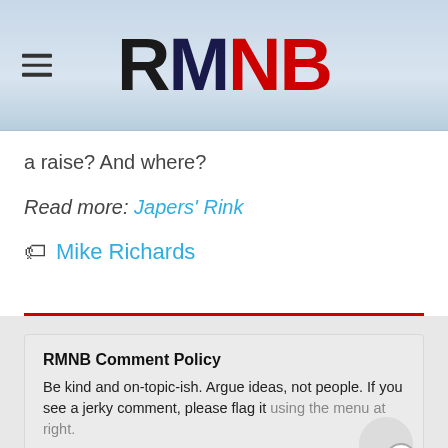[Figure (logo): RMNB site logo with hamburger menu icon. Letters R (black), M (dark navy), N (red), B (red) in large bold font on an icy blue-gray textured background.]
a raise? And where?
Read more: Japers' Rink
Mike Richards
RMNB Comment Policy
Be kind and on-topic-ish. Argue ideas, not people. If you see a jerky comment, please flag it using the menu at right.
Please read our Comment Policy before commenting.